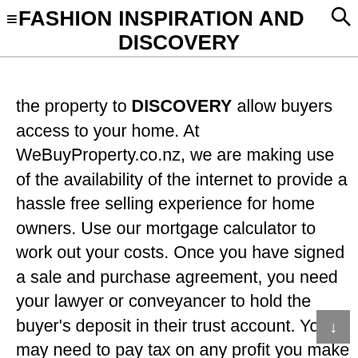FASHION INSPIRATION AND DISCOVERY
the property to ensure you allow buyers access to your home. At WeBuyProperty.co.nz, we are making use of the availability of the internet to provide a hassle free selling experience for home owners. Use our mortgage calculator to work out your costs. Once you have signed a sale and purchase agreement, you need your lawyer or conveyancer to hold the buyer’s deposit in their trust account. You may need to pay tax on any profit you make on a property's value when you sell it. There is no ... Even if you are selling privately your lawyer